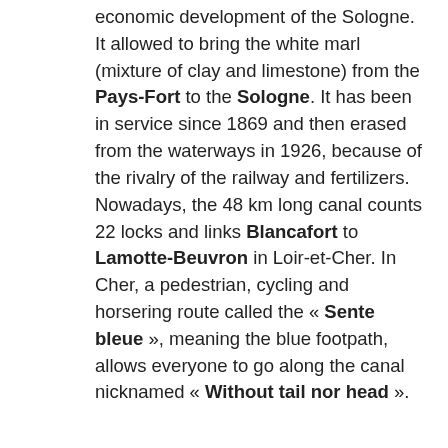economic development of the Sologne. It allowed to bring the white marl (mixture of clay and limestone) from the Pays-Fort to the Sologne. It has been in service since 1869 and then erased from the waterways in 1926, because of the rivalry of the railway and fertilizers. Nowadays, the 48 km long canal counts 22 locks and links Blancafort to Lamotte-Beuvron in Loir-et-Cher. In Cher, a pedestrian, cycling and horsering route called the « Sente bleue », meaning the blue footpath, allows everyone to go along the canal nicknamed « Without tail nor head ».